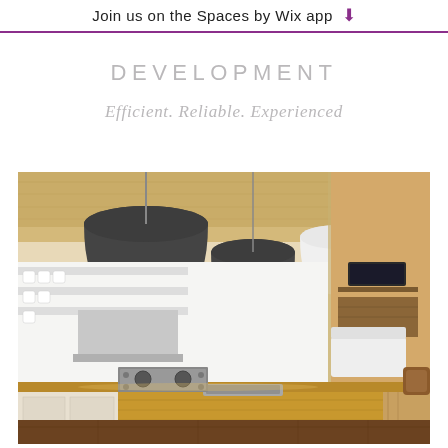Join us on the Spaces by Wix app
DEVELOPMENT
Efficient. Reliable. Experienced
[Figure (photo): Modern open-plan kitchen and living area with pendant lights, wooden island countertop, stainless steel appliances, open shelving, and a dining table visible to the right.]